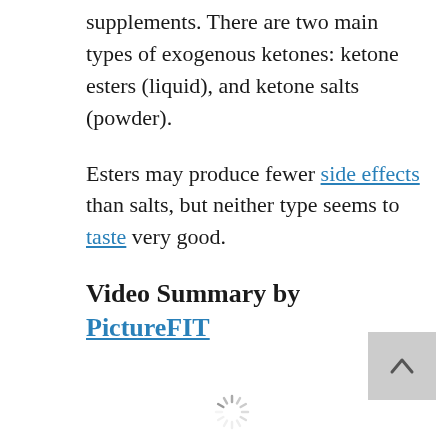supplements. There are two main types of exogenous ketones: ketone esters (liquid), and ketone salts (powder).
Esters may produce fewer side effects than salts, but neither type seems to taste very good.
Video Summary by PictureFIT